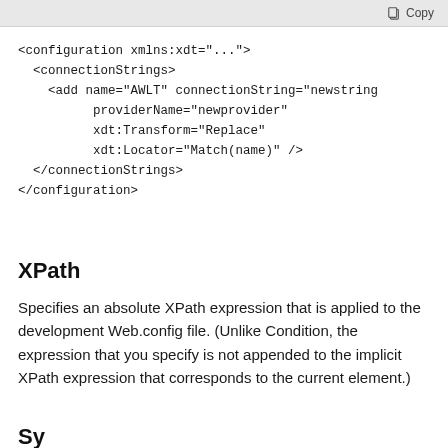[Figure (screenshot): Code block showing XML configuration with connectionStrings element using xdt:Transform and xdt:Locator attributes, with a Copy button in the top-right corner]
XPath
Specifies an absolute XPath expression that is applied to the development Web.config file. (Unlike Condition, the expression that you specify is not appended to the implicit XPath expression that corresponds to the current element.)
Sy